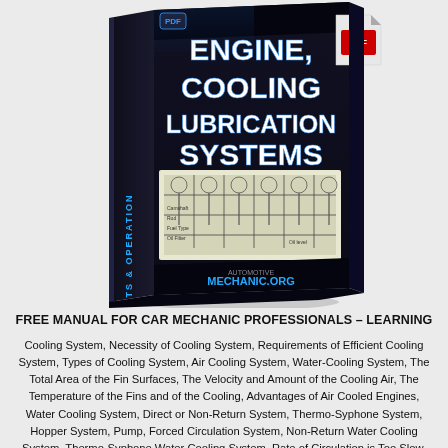[Figure (illustration): 3D book cover illustration showing a manual titled 'ENGINE, COOLING, LUBRICATION SYSTEMS' with subtitle 'COMPONENTS & OPERATION' on the spine, featuring a cross-section diagram of an engine on the cover, published by AUTOMOTIVE MECHANIC.ORG. A PDF icon is visible in the top-right corner.]
FREE MANUAL FOR CAR MECHANIC PROFESSIONALS – LEARNING
Cooling System, Necessity of Cooling System, Requirements of Efficient Cooling System, Types of Cooling System, Air Cooling System, Water-Cooling System, The Total Area of the Fin Surfaces, The Velocity and Amount of the Cooling Air, The Temperature of the Fins and of the Cooling, Advantages of Air Cooled Engines, Water Cooling System, Direct or Non-Return System, Thermo-Syphone System, Hopper System, Pump, Forced Circulation System, Non-Return Water Cooling System, Thermo-Syphone Water Cooling System, Rate of Circulation is Too Slow, Circulation Commences, Circulation Stops, Hopper Water Cooling System, Force